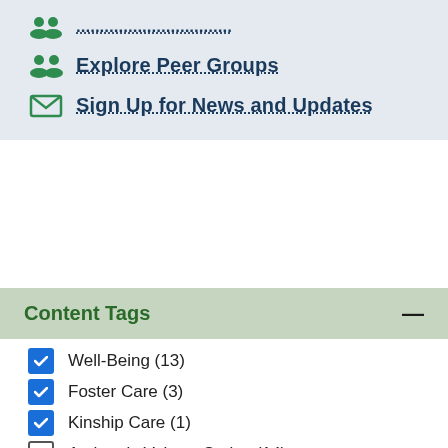... (truncated link)
Explore Peer Groups
Sign Up for News and Updates
Content Tags
Well-Being (13) [checked]
Foster Care (3) [checked]
Kinship Care (1) [checked]
Authentic Voices: Series (14) [unchecked]
Out-of-Home Services (14) [unchecked]
Youth Development (14) [unchecked]